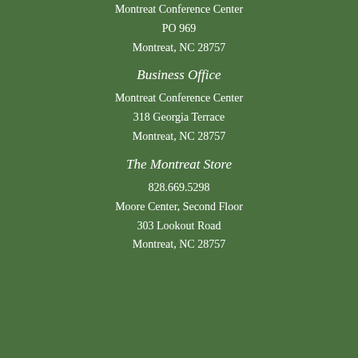Montreat Conference Center
PO 969
Montreat, NC 28757
Business Office
Montreat Conference Center
318 Georgia Terrace
Montreat, NC 28757
The Montreat Store
828.669.5298
Moore Center, Second Floor
303 Lookout Road
Montreat, NC 28757